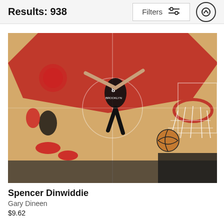Results: 938
[Figure (photo): Overhead/inverted view of a basketball player wearing Brooklyn Nets #8 jersey (Spencer Dinwiddie) dunking near the hoop at a Chicago Bulls arena. Red court paint, basketball hoop net, and multiple players visible from above.]
Spencer Dinwiddie
Gary Dineen
$9.62